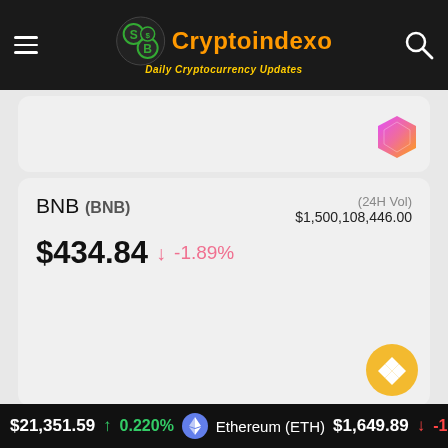Cryptoindexo — Daily Cryptocurrency Updates
[Figure (other): Partial cryptocurrency card with a pink/orange hexagonal gem icon in bottom-right corner]
BNB (BNB)
$434.84 ↓ -1.89%
(24H Vol) $1,500,108,446.00
$21,351.59 ↑ 0.220% Ethereum (ETH) $1,649.89 ↓ -1.7%